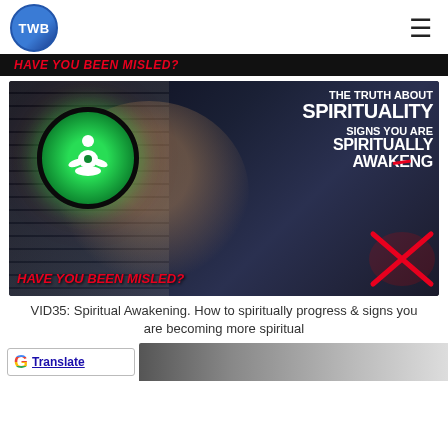TWB (logo) with hamburger menu
[Figure (screenshot): Black banner bar with red italic bold text: HAVE YOU BEEN MISLED?]
[Figure (photo): YouTube thumbnail: man with glasses in dark room, green meditation icon circle with glowing effect on left, white bold text on right reads: THE TRUTH ABOUT SPIRITUALITY / SIGNS YOU ARE SPIRITUALLY / AWAKEN[crossed out]G. Bottom left red bold italic text: HAVE YOU BEEN MISLED?]
VID35: Spiritual Awakening. How to spiritually progress & signs you are becoming more spiritual
[Figure (screenshot): Google Translate button widget at bottom left, partial image strip to the right]